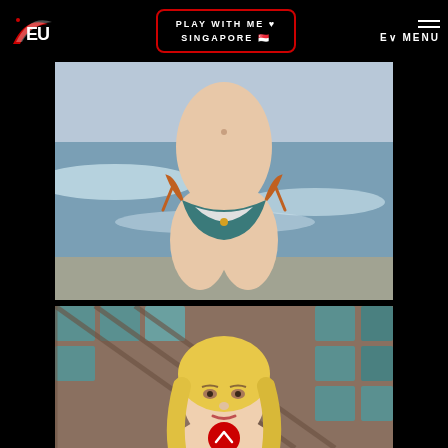[Figure (logo): Website logo with red and white EU-style swoosh design on black background]
PLAY WITH ME ♥ SINGAPORE 🇸🇬
E∨ MENU
[Figure (photo): Photo of a person in a bikini at the beach, cropped from waist to thighs, wearing a two-tone bikini with orange ties and teal bottom, with ocean waves in the background]
[Figure (photo): Photo of a young blonde woman in front of a wooden lattice fence with teal tiles, with a red circular scroll-up button overlay at the bottom]